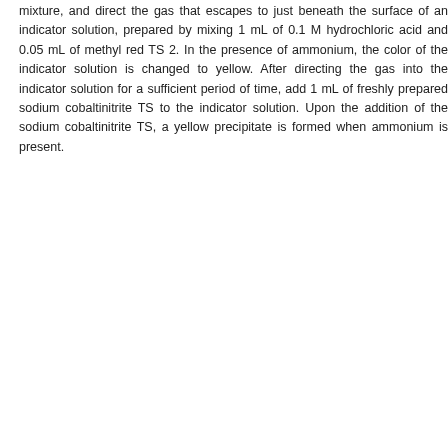mixture, and direct the gas that escapes to just beneath the surface of an indicator solution, prepared by mixing 1 mL of 0.1 M hydrochloric acid and 0.05 mL of methyl red TS 2. In the presence of ammonium, the color of the indicator solution is changed to yellow. After directing the gas into the indicator solution for a sufficient period of time, add 1 mL of freshly prepared sodium cobaltinitrite TS to the indicator solution. Upon the addition of the sodium cobaltinitrite TS, a yellow precipitate is formed when ammonium is present.